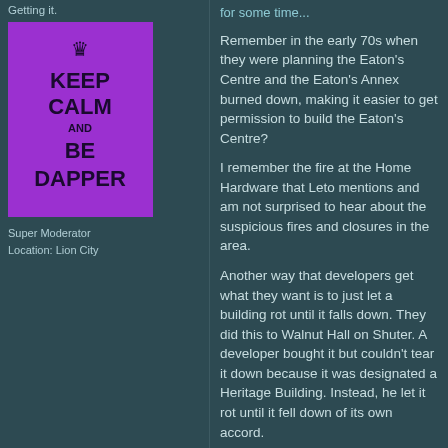Getting it.
[Figure (illustration): Keep Calm and Be Dapper motivational poster with purple background and crown icon]
Super Moderator
Location: Lion City
Remember in the early 70s when they were planning the Eaton's Centre and the Eaton's Annex burned down, making it easier to get permission to build the Eaton's Centre?
I remember the fire at the Home Hardware that Leto mentions and am not surprised to hear about the suspicious fires and closures in the area.
Another way that developers get what they want is to just let a building rot until it falls down. They did this to Walnut Hall on Shuter. A developer bought it but couldn't tear it down because it was designated a Heritage Building. Instead, he let it rot until it fell down of its own accord.
The stretch on Queen West is ripe for development, so it wouldn't (as I've said) surprise me to find out it was arson.
It will be interesting to see...